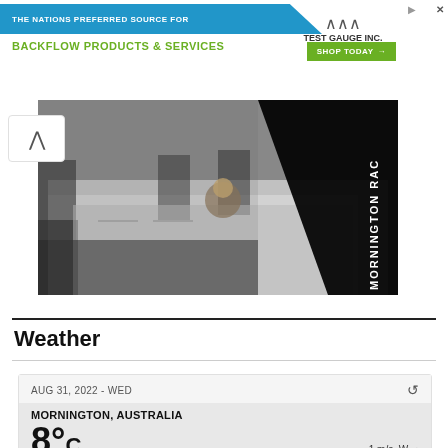[Figure (screenshot): Advertisement banner for Test Gauge Inc — 'The Nations Preferred Source For Backflow Products & Services' with green Shop Today button]
[Figure (photo): Photo of a formal dining table setup with white tablecloths, place settings, and chairs, with black overlay and 'MORNINGTON RAC' text vertically on right]
Weather
AUG 31, 2022 - WED
MORNINGTON, AUSTRALIA
8°C   1 m/s, W